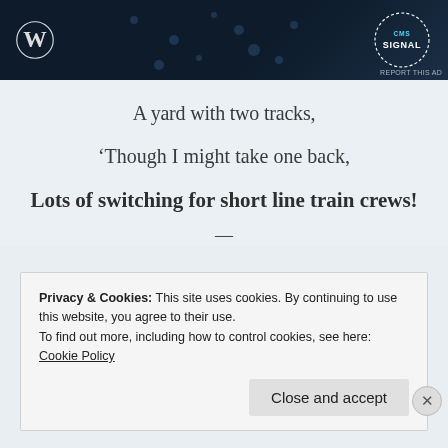[Figure (illustration): Dark navy advertisement banner with WordPress logo on the left and a circular 'CMS Signal' badge on the right, with small decorative dots. 'REPORT THIS AD' text in bottom right corner.]
A yard with two tracks,
'Though I might take one back,
Lots of switching for short line train crews!
—
Privacy & Cookies: This site uses cookies. By continuing to use this website, you agree to their use.
To find out more, including how to control cookies, see here: Cookie Policy
Close and accept